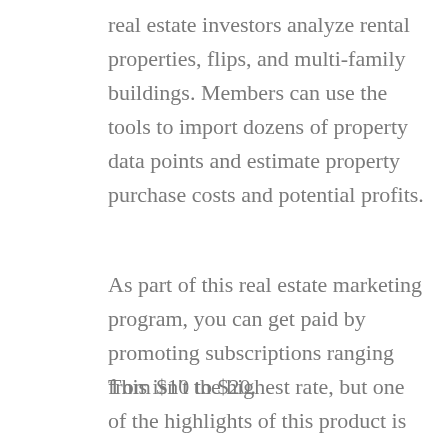real estate investors analyze rental properties, flips, and multi-family buildings. Members can use the tools to import dozens of property data points and estimate property purchase costs and potential profits.
As part of this real estate marketing program, you can get paid by promoting subscriptions ranging from $10 to $20.
This isn't the highest rate, but one of the highlights of this product is that it is well-known and popular. The wide adoption of the product can help you to